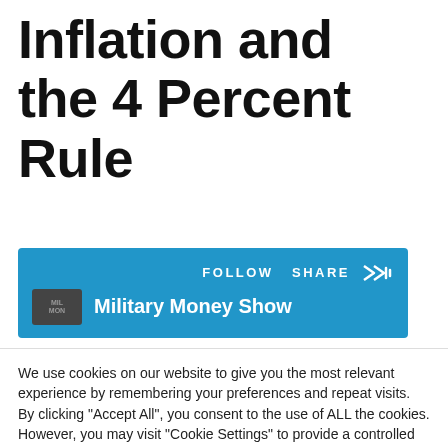Inflation and the 4 Percent Rule
[Figure (screenshot): A blue podcast player bar with FOLLOW SHARE buttons and a Stitcher icon, showing 'Military Money Show' podcast name with a thumbnail image.]
We use cookies on our website to give you the most relevant experience by remembering your preferences and repeat visits. By clicking "Accept All", you consent to the use of ALL the cookies. However, you may visit "Cookie Settings" to provide a controlled consent.